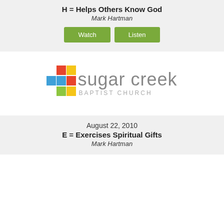H = Helps Others Know God
Mark Hartman
Watch  Listen
[Figure (logo): Sugar Creek Baptist Church logo with colorful cross made of square blocks and gray wordmark text]
August 22, 2010
E = Exercises Spiritual Gifts
Mark Hartman